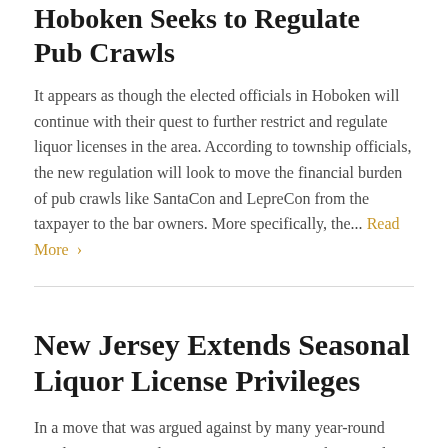Hoboken Seeks to Regulate Pub Crawls
It appears as though the elected officials in Hoboken will continue with their quest to further restrict and regulate liquor licenses in the area. According to township officials, the new regulation will look to move the financial burden of pub crawls like SantaCon and LepreCon from the taxpayer to the bar owners. More specifically, the... Read More ›
New Jersey Extends Seasonal Liquor License Privileges
In a move that was argued against by many year-round retail consumption licensees, Governor Murphy signed legislation that amended N.J.S.A. 33:1-12 for seasonal retail consumption licenses. While there are only a handful of seasonal liquor